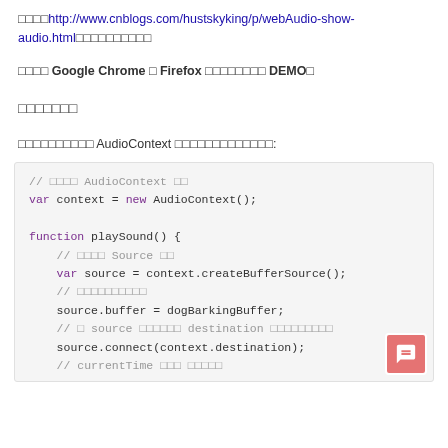□□□□http://www.cnblogs.com/hustskyking/p/webAudio-show-audio.html□□□□□□□□□□
□□□□ Google Chrome □ Firefox □□□□□□□□ DEMO□
□□□□□□□
□□□□□□□□□□ AudioContext □□□□□□□□□□□□□:
// □□□□ AudioContext □□
var context = new AudioContext();

function playSound() {
    // □□□□ Source □□
    var source = context.createBufferSource();
    // □□□□□□□□□□
    source.buffer = dogBarkingBuffer;
    // □ source □□□□□□ destination □□□□□□□□□
    source.connect(context.destination);
    // currentTime □□□ □□□□□